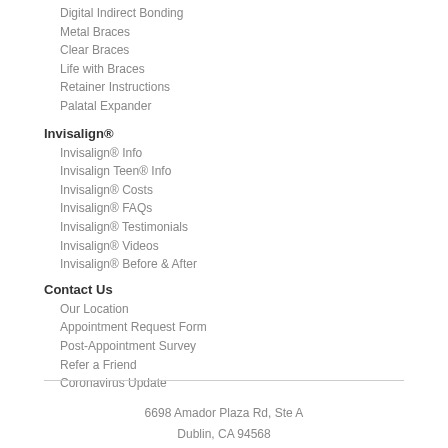Digital Indirect Bonding
Metal Braces
Clear Braces
Life with Braces
Retainer Instructions
Palatal Expander
Invisalign®
Invisalign® Info
Invisalign Teen® Info
Invisalign® Costs
Invisalign® FAQs
Invisalign® Testimonials
Invisalign® Videos
Invisalign® Before & After
Contact Us
Our Location
Appointment Request Form
Post-Appointment Survey
Refer a Friend
Coronavirus Update
6698 Amador Plaza Rd, Ste A
Dublin, CA 94568